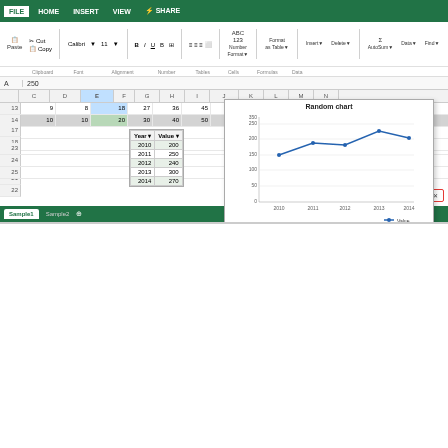[Figure (screenshot): Desktop screenshot of Microsoft Excel (Excel Online) showing a spreadsheet with data table (Year/Value: 2010-200, 2011-250, 2012-240, 2013-300, 2014-270) and a line chart titled 'Random chart' plotting those values. Spreadsheet shows rows 13-14 with numeric data. Row 19 is selected. A notification reads 'John Smith is now editing the workbook'. Sheet tabs: Sample1, Sample2. Green bottom bar shows '1 PEOPLE EDITING'. Formula bar shows A: 250.]
[Figure (screenshot): Mobile/iPad screenshot of the same Excel Online spreadsheet viewed in a browser at portals002.informationtechnology.ro. Shows MS Office Excel sample.xlsx. Same ribbon and spreadsheet rows 13-16 visible, with 'Random chart' title partially visible at bottom. iPad indicator shown top-left with battery indicator top-right.]